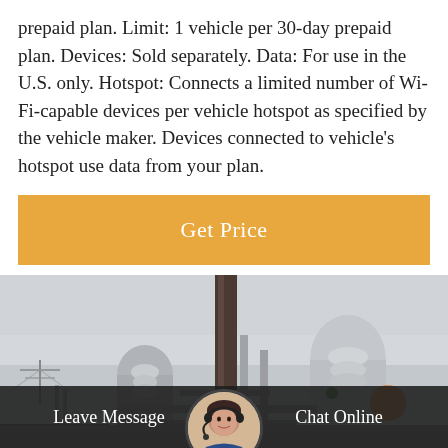prepaid plan. Limit: 1 vehicle per 30-day prepaid plan. Devices: Sold separately. Data: For use in the U.S. only. Hotspot: Connects a limited number of Wi-Fi-capable devices per vehicle hotspot as specified by the vehicle maker. Devices connected to vehicle's hotspot use data from your plan.
[Figure (other): Orange 'Get Price' button]
[Figure (photo): Industrial infrastructure photo showing electrical substation or power plant equipment with pipes, insulators, and metal structures under an overcast sky]
Leave Message
Chat Online